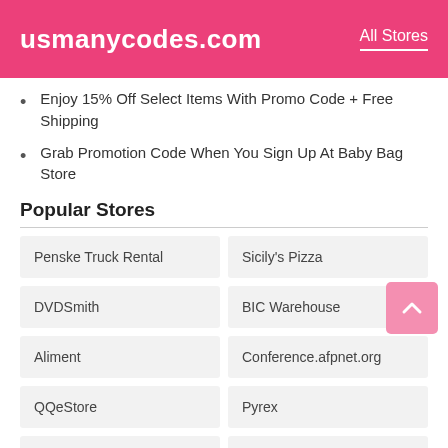usmanycodes.com   All Stores
Enjoy 15% Off Select Items With Promo Code + Free Shipping
Grab Promotion Code When You Sign Up At Baby Bag Store
Popular Stores
| Penske Truck Rental | Sicily's Pizza |
| DVDSmith | BIC Warehouse |
| Aliment | Conference.afpnet.org |
| QQeStore | Pyrex |
| Rexel | T.O.M. |